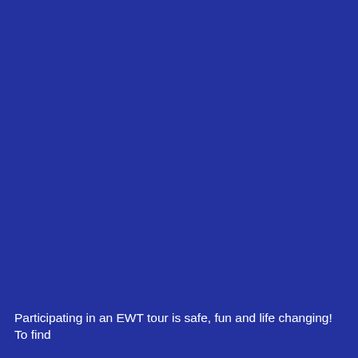Participating in an EWT tour is safe, fun and life changing! To find